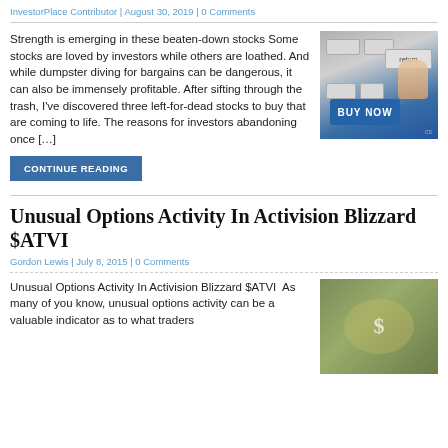InvestorPlace Contributor | August 30, 2019 | 0 Comments
Strength is emerging in these beaten-down stocks Some stocks are loved by investors while others are loathed. And while dumpster diving for bargains can be dangerous, it can also be immensely profitable. After sifting through the trash, I've discovered three left-for-dead stocks to buy that are coming to life. The reasons for investors abandoning once [...]
[Figure (photo): Keyboard with a blue 'BUY NOW' key being pressed by a finger, with a 'return' key visible]
CONTINUE READING
Unusual Options Activity In Activision Blizzard $ATVI
Gordon Lewis | July 8, 2015 | 0 Comments
Unusual Options Activity In Activision Blizzard $ATVI  As many of you know, unusual options activity can be a valuable indicator as to what traders
[Figure (photo): Pile of US dollar bills money]